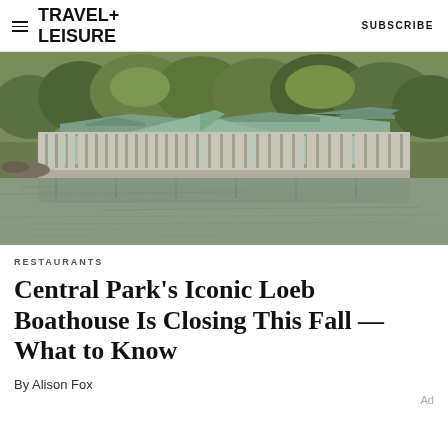TRAVEL+ LEISURE   SUBSCRIBE
[Figure (photo): Exterior photo of the Loeb Boathouse in Central Park, a long building with green copper rooftops reflected in the lake, surrounded by trees.]
RESTAURANTS
Central Park's Iconic Loeb Boathouse Is Closing This Fall — What to Know
By Alison Fox